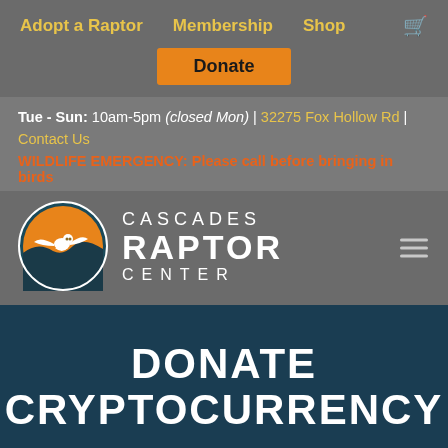Adopt a Raptor | Membership | Shop
Donate
Tue - Sun: 10am-5pm (closed Mon) | 32275 Fox Hollow Rd | Contact Us
WILDLIFE EMERGENCY: Please call before bringing in birds
[Figure (logo): Cascades Raptor Center logo with circular emblem showing a white owl in flight against an orange and teal background, with text reading CASCADES RAPTOR CENTER]
DONATE CRYPTOCURRENCY